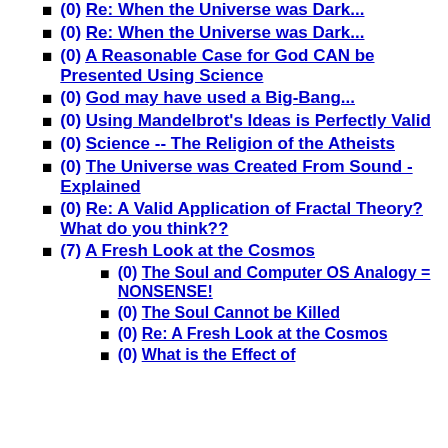(0) Re: When the Universe was Dark...
(0) Re: When the Universe was Dark...
(0) A Reasonable Case for God CAN be Presented Using Science
(0) God may have used a Big-Bang...
(0) Using Mandelbrot's Ideas is Perfectly Valid
(0) Science -- The Religion of the Atheists
(0) The Universe was Created From Sound - Explained
(0) Re: A Valid Application of Fractal Theory? What do you think??
(7) A Fresh Look at the Cosmos
(0) The Soul and Computer OS Analogy = NONSENSE!
(0) The Soul Cannot be Killed
(0) Re: A Fresh Look at the Cosmos
(0) What is the Effect of